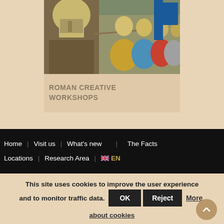[Figure (photo): Roman reenactors in armor with helmets, shields, and spears lined up in formation outdoors]
ROMAN CREATIVE WORKSHOPS
Home | Visit us | What's new | The Facts | Locations | Research Area | EN
This site uses cookies to improve the user experience and to monitor traffic data.
OK  Reject  More about cookies